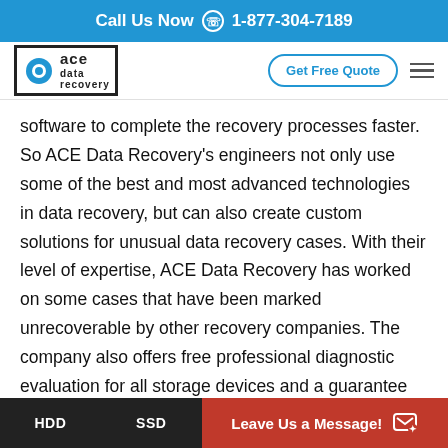Call Us Now 1-877-304-7189
[Figure (logo): ACE Data Recovery logo with phone icon and hamburger menu, plus Get Free Quote button]
software to complete the recovery processes faster. So ACE Data Recovery's engineers not only use some of the best and most advanced technologies in data recovery, but can also create custom solutions for unusual data recovery cases. With their level of expertise, ACE Data Recovery has worked on some cases that have been marked unrecoverable by other recovery companies. The company also offers free professional diagnostic evaluation for all storage devices and a guarantee that you won't have to pay if
HDD   SSD   Leave Us a Message!